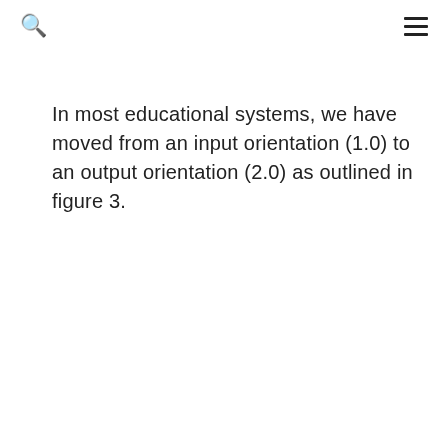🔍 ≡
In most educational systems, we have moved from an input orientation (1.0) to an output orientation (2.0) as outlined in figure 3.